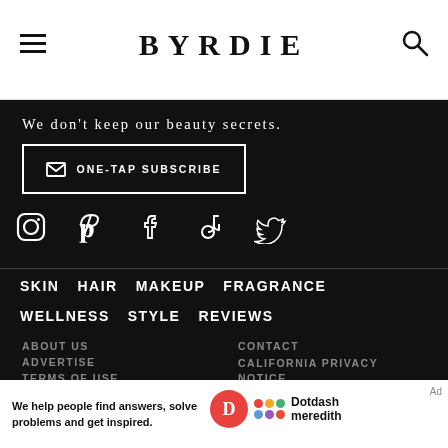BYRDIE
We don't keep our beauty secrets.
ONE-TAP SUBSCRIBE
[Figure (infographic): Social media icons row: Instagram, Pinterest, Facebook, TikTok, Twitter]
SKIN
HAIR
MAKEUP
FRAGRANCE
WELLNESS
STYLE
REVIEWS
ABOUT US
ADVERTISE
TERMS OF USE
CAREERS
CONTACT
CALIFORNIA PRIVACY NOTICE
DO NOT SELL MY
We help people find answers, solve problems and get inspired. Dotdash meredith